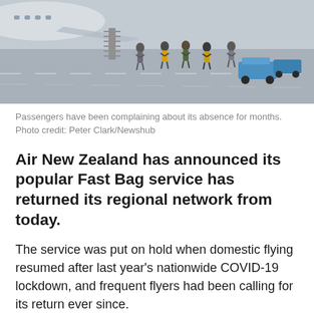[Figure (photo): People walking on airport tarmac next to a parked aircraft, ground crew in high-visibility vests visible, airport ground vehicles in background.]
Passengers have been complaining about its absence for months. Photo credit: Peter Clark/Newshub
Air New Zealand has announced its popular Fast Bag service has returned its regional network from today.
The service was put on hold when domestic flying resumed after last year's nationwide COVID-19 lockdown, and frequent flyers had been calling for its return ever since.
Fast Bag is a service which essentially ensures a customer's bag will be one of the first offloaded.